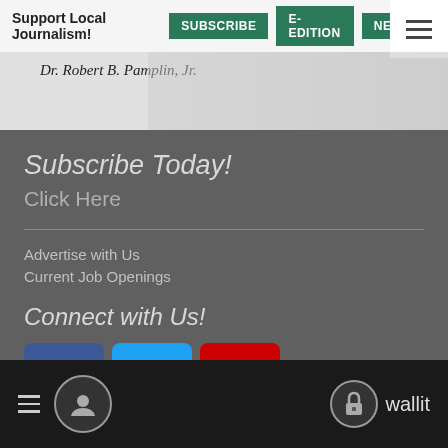Support Local Journalism! SUBSCRIBE E-EDITION NEWSLET
Dr. Robert B. Pamplin, Jr.
Subscribe Today!
Click Here
Advertise with Us
Current Job Openings
Connect with Us!
[Figure (illustration): Social media icons: Facebook (blue), Twitter (light blue), YouTube (red)]
wallit